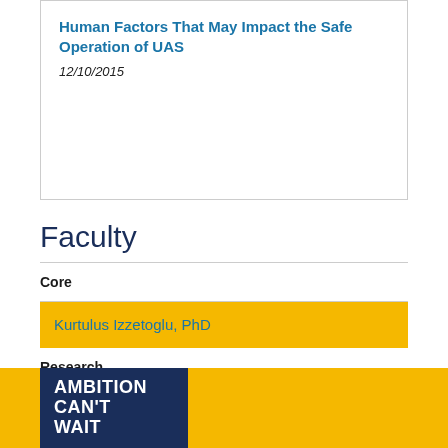Human Factors That May Impact the Safe Operation of UAS
12/10/2015
Faculty
Core
Kurtulus Izzetoglu, PhD
Research
Affiliated
Emeritus
[Figure (logo): Ambition Can't Wait logo on dark navy background with yellow accent bar]